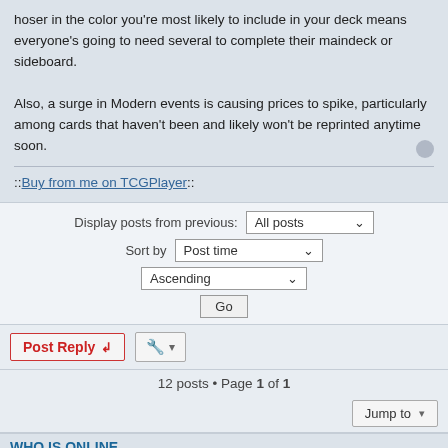hoser in the color you're most likely to include in your deck means everyone's going to need several to complete their maindeck or sideboard.

Also, a surge in Modern events is causing prices to spike, particularly among cards that haven't been and likely won't be reprinted anytime soon.
::Buy from me on TCGPlayer::
Display posts from previous: All posts ▼
Sort by Post time ▼
Ascending ▼
Go
Post Reply  🔧 ▼
12 posts • Page 1 of 1
Jump to ▼
WHO IS ONLINE
Users browsing this forum: No registered users and 0 guests
🏠 Home ‹ Board index      🗑 Delete cookies • All times are UTC+01:00
Powered by phpBB® Forum Software © phpBB Limited